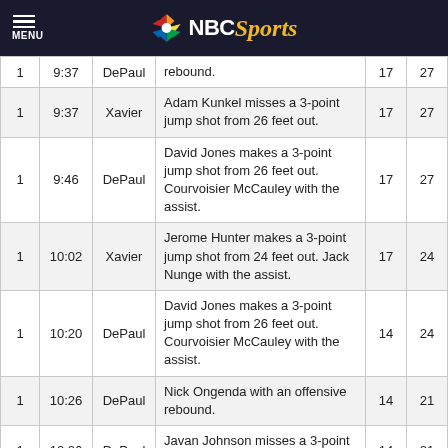NBC Sports
| H | Time | Team | Description | DePaul | Xavier |
| --- | --- | --- | --- | --- | --- |
| 1 | 9:37 | DePaul | rebound. | 17 | 27 |
| 1 | 9:37 | Xavier | Adam Kunkel misses a 3-point jump shot from 26 feet out. | 17 | 27 |
| 1 | 9:46 | DePaul | David Jones makes a 3-point jump shot from 26 feet out. Courvoisier McCauley with the assist. | 17 | 27 |
| 1 | 10:02 | Xavier | Jerome Hunter makes a 3-point jump shot from 24 feet out. Jack Nunge with the assist. | 17 | 24 |
| 1 | 10:20 | DePaul | David Jones makes a 3-point jump shot from 26 feet out. Courvoisier McCauley with the assist. | 14 | 24 |
| 1 | 10:26 | DePaul | Nick Ongenda with an offensive rebound. | 14 | 21 |
| 1 | 10:26 | DePaul | Javan Johnson misses a 3-point jump shot from 27 feet out. | 14 | 21 |